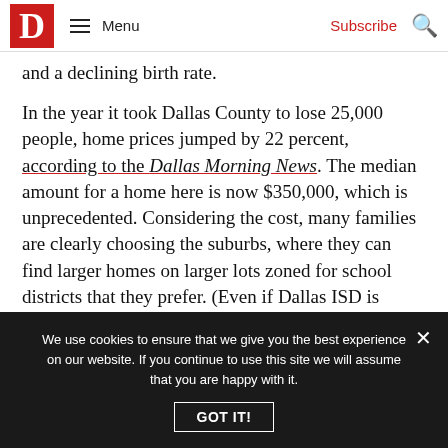D | Menu | Subscribe | [search icon]
and a declining birth rate.
In the year it took Dallas County to lose 25,000 people, home prices jumped by 22 percent, according to the Dallas Morning News. The median amount for a home here is now $350,000, which is unprecedented. Considering the cost, many families are clearly choosing the suburbs, where they can find larger homes on larger lots zoned for school districts that they prefer. (Even if Dallas ISD is improving.)
We use cookies to ensure that we give you the best experience on our website. If you continue to use this site we will assume that you are happy with it. GOT IT!